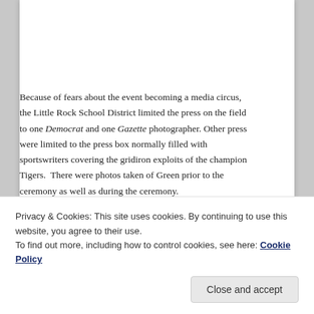Because of fears about the event becoming a media circus, the Little Rock School District limited the press on the field to one Democrat and one Gazette photographer. Other press were limited to the press box normally filled with sportswriters covering the gridiron exploits of the champion Tigers.  There were photos taken of Green prior to the ceremony as well as during the ceremony.
During the graduation rehearsal, there had been concerns that some students or other people might try to disrupt the
Privacy & Cookies: This site uses cookies. By continuing to use this website, you agree to their use.
To find out more, including how to control cookies, see here: Cookie Policy